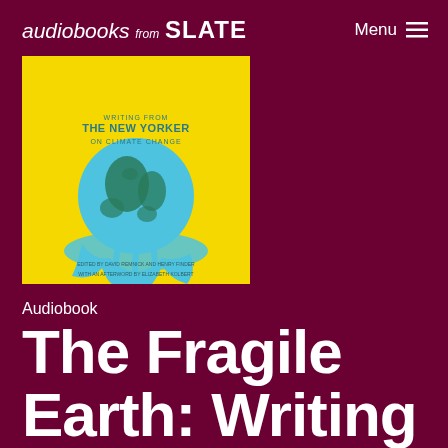audiobooks from SLATE    Menu ≡
[Figure (illustration): Book cover for 'The Fragile Earth: Writing from The New Yorker on Climate Change' — yellow background with a melting globe illustration dripping blue liquid, teal/blue text. Edited by David Remnick and Henry Finder. With an afterword by Elizabeth Kolbert.]
Audiobook
The Fragile Earth: Writing from the New Yorker on